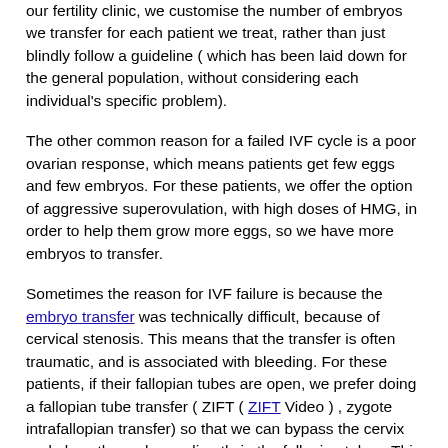our fertility clinic, we customise the number of embryos we transfer for each patient we treat, rather than just blindly follow a guideline ( which has been laid down for the general population, without considering each individual's specific problem).
The other common reason for a failed IVF cycle is a poor ovarian response, which means patients get few eggs and few embryos. For these patients, we offer the option of aggressive superovulation, with high doses of HMG, in order to help them grow more eggs, so we have more embryos to transfer.
Sometimes the reason for IVF failure is because the embryo transfer was technically difficult, because of cervical stenosis. This means that the transfer is often traumatic, and is associated with bleeding. For these patients, if their fallopian tubes are open, we prefer doing a fallopian tube transfer ( ZIFT ( ZIFT Video ) , zygote intrafallopian transfer) so that we can bypass the cervix and place the embryos directly in the fallopian tubes. This ensures a very high pregnancy rate.